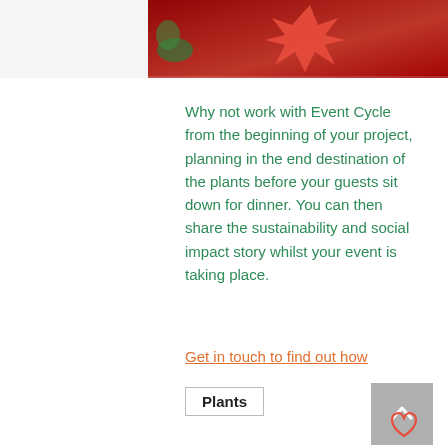[Figure (photo): Partial photo at top showing red decorative elements and plants on a dark red background]
Why not work with Event Cycle from the beginning of your project, planning in the end destination of the plants before your guests sit down for dinner. You can then share the sustainability and social impact story whilst your event is taking place.
Get in touch to find out how
Plants
[Figure (other): Social sharing icons: Facebook, Twitter, LinkedIn, Link]
[Figure (other): Heart/like icon in red outline]